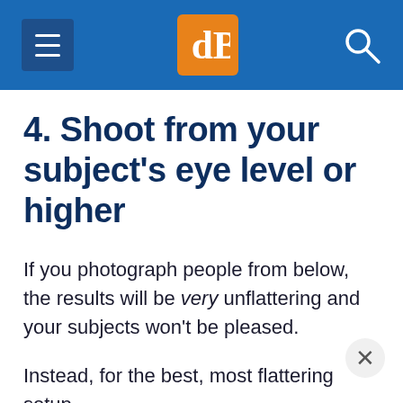dPS (digital photography school)
4. Shoot from your subject's eye level or higher
If you photograph people from below, the results will be very unflattering and your subjects won't be pleased.
Instead, for the best, most flattering setup,